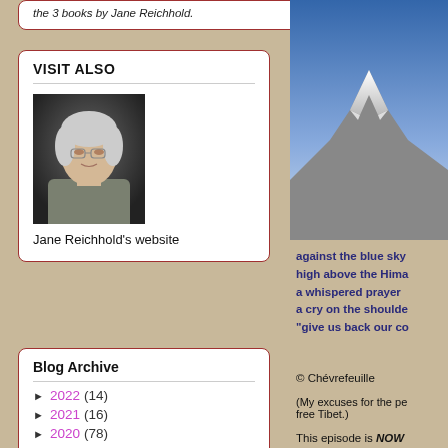the 3 books by Jane Reichhold.
VISIT ALSO
[Figure (photo): Portrait photo of Jane Reichhold, an elderly woman with white/grey hair, wearing glasses and a grey cardigan, on dark background.]
Jane Reichhold's website
Blog Archive
► 2022 (14)
► 2021 (16)
► 2020 (78)
► 2019 (290)
[Figure (photo): Snow-capped Himalayan mountain peak against blue sky.]
against the blue sky
high above the Hima...
a whispered prayer
a cry on the shoulde...
"give us back our co...
© Chévrefeuille
(My excuses for the p... free Tibet.)
This episode is NOW